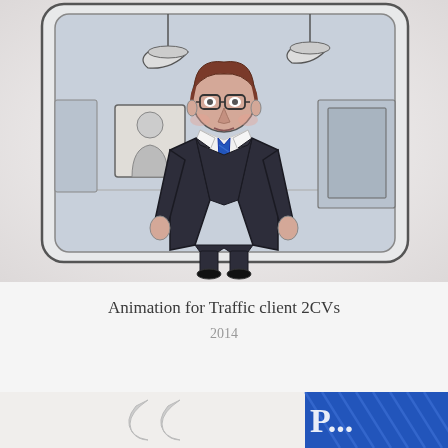[Figure (illustration): Hand-drawn animation still showing a cartoon businessman in a dark suit with blue tie and glasses, standing in an office room with ceiling lamps, a portrait photo on the wall, and a doorway. The illustration has a sketchy, hand-drawn style on a light blue-grey background.]
Animation for Traffic client 2CVs
2014
[Figure (illustration): Bottom portion of another illustration partially visible, showing blue and white striped/hatched graphic elements with what appears to be the beginning of text.]